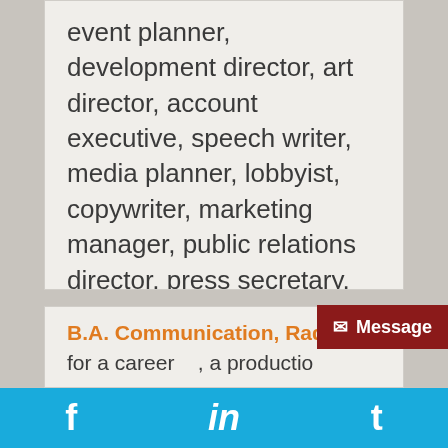event planner, development director, art director, account executive, speech writer, media planner, lobbyist, copywriter, marketing manager, public relations director, press secretary, graphic designer or marketing coordinator, the advertising & PR emphasis is for you. In addition to a core of communication classes required of all department majors, advertising & PR students study photo & graphic editing, photography, media writing, and applied advertising and PR.
B.A. Communication, Radio-TV-Film Em...
...for a career ..., a productio...